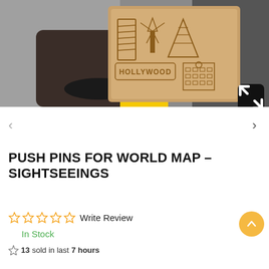[Figure (photo): A hand holding a rectangular wooden/cardboard laser-engraved plaque with landmark icons: Leaning Tower of Pisa, windmill, stepped pyramid, Hollywood sign text, and a building. Black background with wristband visible.]
PUSH PINS FOR WORLD MAP – SIGHTSEEINGS
☆ ☆ ☆ ☆ ☆ Write Review
In Stock
13 sold in last 7 hours